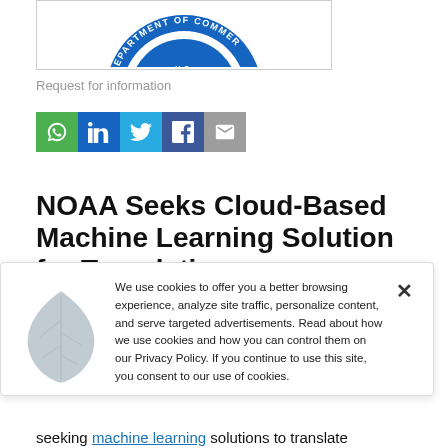[Figure (logo): U.S. Department of Commerce circular seal/logo, partially visible at top]
Request for information
[Figure (infographic): Social media share buttons: WhatsApp, LinkedIn, Twitter, Facebook, Email]
NOAA Seeks Cloud-Based Machine Learning Solution for Translating
We use cookies to offer you a better browsing experience, analyze site traffic, personalize content, and serve targeted advertisements. Read about how we use cookies and how you can control them on our Privacy Policy. If you continue to use this site, you consent to our use of cookies.
seeking machine learning solutions to translate